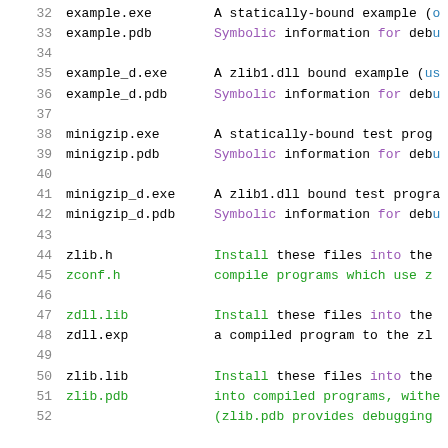32  example.exe    A statically-bound example (o...
33  example.pdb    Symbolic information for debu...
34
35  example_d.exe  A zlib1.dll bound example (us...
36  example_d.pdb  Symbolic information for debu...
37
38  minigzip.exe   A statically-bound test prog...
39  minigzip.pdb   Symbolic information for debu...
40
41  minigzip_d.exe A zlib1.dll bound test progra...
42  minigzip_d.pdb Symbolic information for debu...
43
44  zlib.h         Install these files into the...
45  zconf.h        compile programs which use z...
46
47  zdll.lib       Install these files into the...
48  zdll.exp       a compiled program to the zl...
49
50  zlib.lib       Install these files into the...
51  zlib.pdb       into compiled programs, with...
52               (zlib.pdb provides debugging...